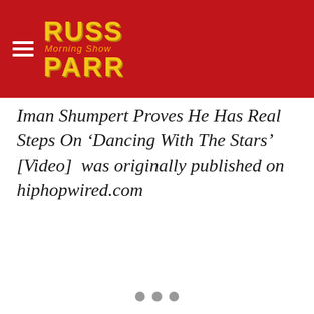Russ Parr Morning Show
Iman Shumpert Proves He Has Real Steps On ‘Dancing With The Stars’ [Video]  was originally published on hiphopwired.com